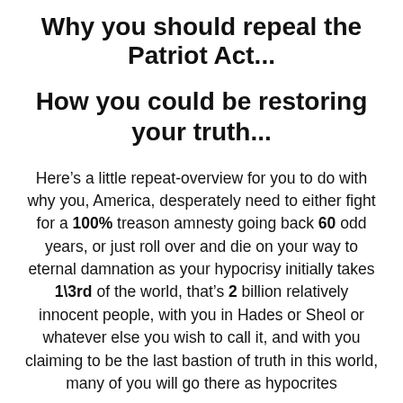Why you should repeal the Patriot Act...
How you could be restoring your truth...
Here’s a little repeat-overview for you to do with why you, America, desperately need to either fight for a 100% treason amnesty going back 60 odd years, or just roll over and die on your way to eternal damnation as your hypocrisy initially takes 1\3rd of the world, that’s 2 billion relatively innocent people, with you in Hades or Sheol or whatever else you wish to call it, and with you claiming to be the last bastion of truth in this world, many of you will go there as hypocrites